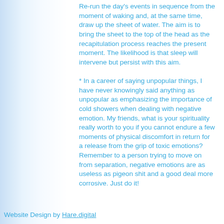Re-run the day's events in sequence from the moment of waking and, at the same time, draw up the sheet of water. The aim is to bring the sheet to the top of the head as the recapitulation process reaches the present moment. The likelihood is that sleep will intervene but persist with this aim.
* In a career of saying unpopular things, I have never knowingly said anything as unpopular as emphasizing the importance of cold showers when dealing with negative emotion. My friends, what is your spirituality really worth to you if you cannot endure a few moments of physical discomfort in return for a release from the grip of toxic emotions? Remember to a person trying to move on from separation, negative emotions are as useless as pigeon shit and a good deal more corrosive. Just do it!
Website Design by Hare.digital